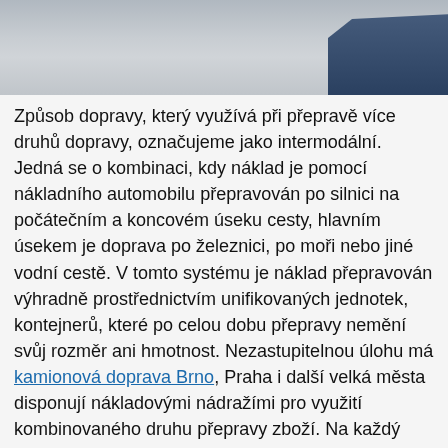[Figure (photo): Photograph of a truck/tanker vehicle on a paved lot or road surface, partial view from above-right angle]
Způsob dopravy, který využívá při přepravě více druhů dopravy, označujeme jako intermodální. Jedná se o kombinaci, kdy náklad je pomocí nákladního automobilu přepravován po silnici na počátečním a koncovém úseku cesty, hlavním úsekem je doprava po železnici, po moři nebo jiné vodní cestě. V tomto systému je náklad přepravován výhradně prostřednictvím unifikovaných jednotek, kontejnerů, které po celou dobu přepravy nemění svůj rozměr ani hmotnost. Nezastupitelnou úlohu má kamionová doprava Brno, Praha i další velká města disponují nákladovými nádražími pro využití kombinovaného druhu přepravy zboží. Na každý druh dopravy, silniční, železniční nebo námořní, se vystavuje jiný přepravní doklad.
Intermodální systém je používán i v osobní dopravě, formou integrovaných dopravních systémů veřejné